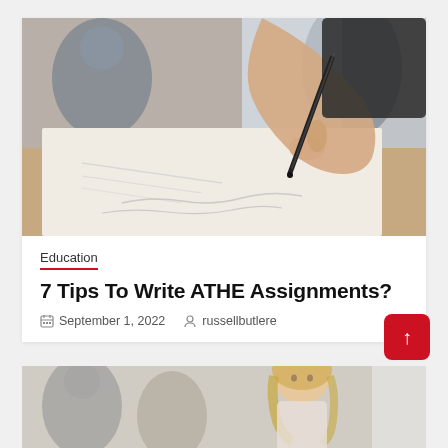[Figure (photo): Close-up photo of a hand holding a pen and writing on paper at a desk, with blurred people in background]
Education
7 Tips To Write ATHE Assignments?
September 1, 2022   russellbutlere
[Figure (photo): Partial photo of a blonde woman looking forward, with blurred people in background]